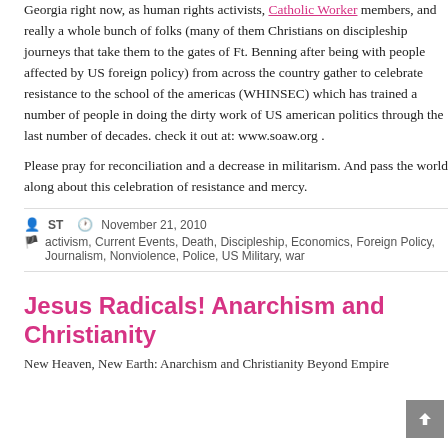Georgia right now, as human rights activists, Catholic Worker members, and really a whole bunch of folks (many of them Christians on discipleship journeys that take them to the gates of Ft. Benning after being with people affected by US foreign policy) from across the country gather to celebrate resistance to the school of the americas (WHINSEC) which has trained a number of people in doing the dirty work of US american politics through the last number of decades. check it out at: www.soaw.org .
Please pray for reconciliation and a decrease in militarism. And pass the world along about this celebration of resistance and mercy.
ST  November 21, 2010
activism, Current Events, Death, Discipleship, Economics, Foreign Policy, Journalism, Nonviolence, Police, US Military, war
Jesus Radicals! Anarchism and Christianity
New Heaven, New Earth: Anarchism and Christianity Beyond Empire